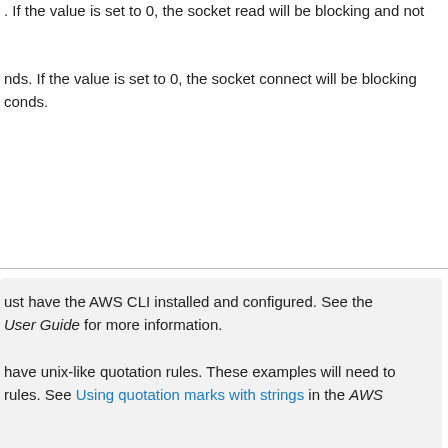. If the value is set to 0, the socket read will be blocking and not
nds. If the value is set to 0, the socket connect will be blocking
conds.
ust have the AWS CLI installed and configured. See the
User Guide for more information.
have unix-like quotation rules. These examples will need to
rules. See Using quotation marks with strings in the AWS